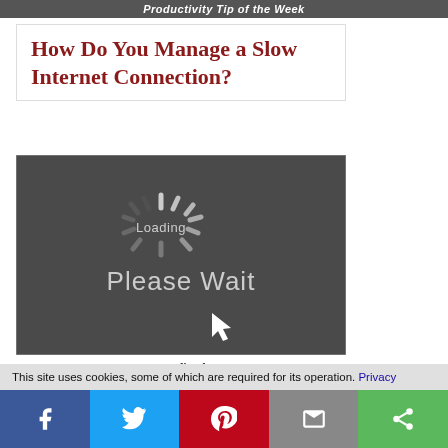Productivity Tip of the Week
How Do You Manage a Slow Internet Connection?
[Figure (illustration): Dark grey loading screen showing a spinning loading icon with 'Loading' text in the center and 'Please Wait' text below, with a white mouse cursor arrow in the bottom right.]
Image Credit edgy.app
This site uses cookies, some of which are required for its operation. Privacy